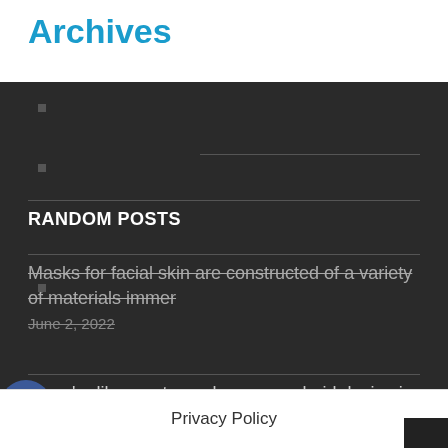Archives
RANDOM POSTS
Masks for facial skin are constructed of a variety of materials immer
June 2, 2022
If you're like most people, your android device is your primary p
July 29, 2022
chadholtz 2022. Powered by WordPress
Privacy Policy